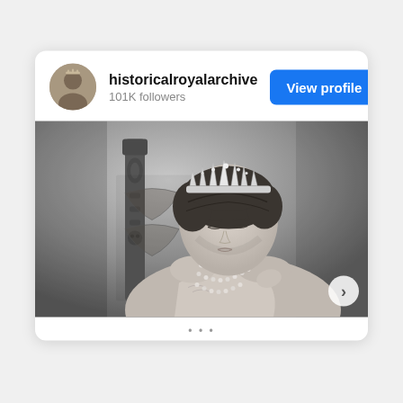historicalroyalarchive
101K followers
View profile
[Figure (photo): Black and white vintage photograph of a woman wearing a tiara/crown and pearl necklaces, seated in an ornate chair, looking downward. The image appears to be a historical royal portrait.]
›
...